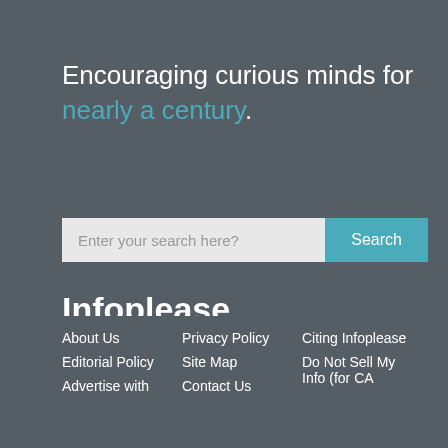Encouraging curious minds for nearly a century.
[Figure (screenshot): Search bar with placeholder text 'Enter your search here?' and a teal 'Search' button]
Infoplease
Infoplease knows the value of having sources you can trust. Infoplease is a reference and learning site, combining the contents of an encyclopedia, a dictionary, an atlas and several almanacs loaded with facts. Our editors update and regularly refine this enormous body of information to bring you reliable information.
[Figure (illustration): Three small green leaf/document icons in a row]
About Us | Privacy Policy | Citing Infoplease | Editorial Policy | Site Map | Do Not Sell My Info (for CA | Advertise with | Contact Us
About Us
Privacy Policy
Citing Infoplease
Editorial Policy
Site Map
Do Not Sell My Info (for CA
Advertise with
Contact Us